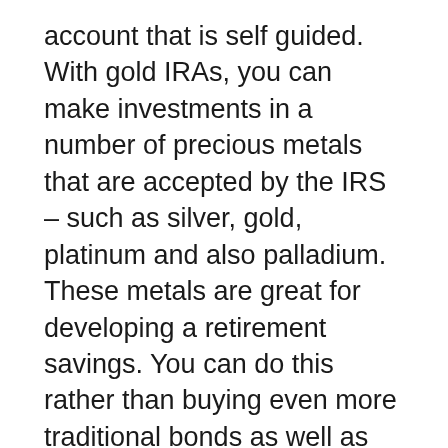account that is self guided. With gold IRAs, you can make investments in a number of precious metals that are accepted by the IRS – such as silver, gold, platinum and also palladium. These metals are great for developing a retirement savings. You can do this rather than buying even more traditional bonds as well as stocks. A gold individual retirement account has tax benefits that are mainly the same as various other pension, however they could have greater costs.
Arranging a gold IRA allows you to expand your investment portfolio by buying rare-earth elements, as opposed to bonds and stocks. Many individuals certify to rollover their existing pension into their gold IRA account.